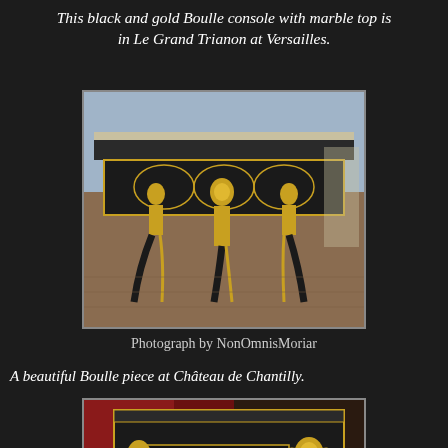This black and gold Boulle console with marble top is in Le Grand Trianon at Versailles.
[Figure (photo): Close-up photograph of a black and gold Boulle console table with ornate gilded caryatid figures and intricate marquetry, showing details of the legs and apron with a marble top edge visible.]
Photograph by NonOmnisMoriar
A beautiful Boulle piece at Château de Chantilly.
[Figure (photo): Photograph of a Boulle furniture piece at Château de Chantilly, showing black and gold marquetry cabinet with gilded bronze mounts and ornate decorative elements, partially visible.]